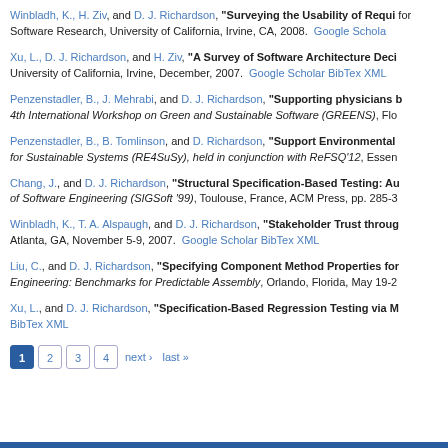Winbladh, K., H. Ziv, and D. J. Richardson, "Surveying the Usability of Requi... for Software Research, University of California, Irvine, CA, 2008. Google Schola...
Xu, L., D. J. Richardson, and H. Ziv, "A Survey of Software Architecture Deci... University of California, Irvine, December, 2007. Google Scholar BibTex XML
Penzenstadler, B., J. Mehrabi, and D. J. Richardson, "Supporting physicians b... 4th International Workshop on Green and Sustainable Software (GREENS), Flo...
Penzenstadler, B., B. Tomlinson, and D. Richardson, "Support Environmental... for Sustainable Systems (RE4SuSy), held in conjunction with ReFSQ'12, Essen...
Chang, J., and D. J. Richardson, "Structural Specification-Based Testing: Au... of Software Engineering (SIGSoft '99), Toulouse, France, ACM Press, pp. 285-3...
Winbladh, K., T. A. Alspaugh, and D. J. Richardson, "Stakeholder Trust throug... Atlanta, GA, November 5-9, 2007. Google Scholar BibTex XML
Liu, C., and D. J. Richardson, "Specifying Component Method Properties for... Engineering: Benchmarks for Predictable Assembly, Orlando, Florida, May 19-2...
Xu, L., and D. J. Richardson, "Specification-Based Regression Testing via M... BibTex XML
1 2 3 4 next › last »